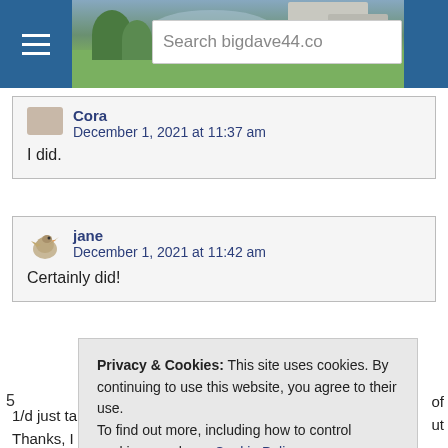[Figure (screenshot): Website header with landscape photo, hamburger menu icon, and search bar showing 'Search bigdave44.co']
Cora
December 1, 2021 at 11:37 am
I did.
jane
December 1, 2021 at 11:42 am
Certainly did!
Privacy & Cookies: This site uses cookies. By continuing to use this website, you agree to their use.
To find out more, including how to control cookies, see here: Cookie Policy
Close and accept
1/d just takes the honours.
Thanks, I assume to Jay as he hasn't set the Toughie today